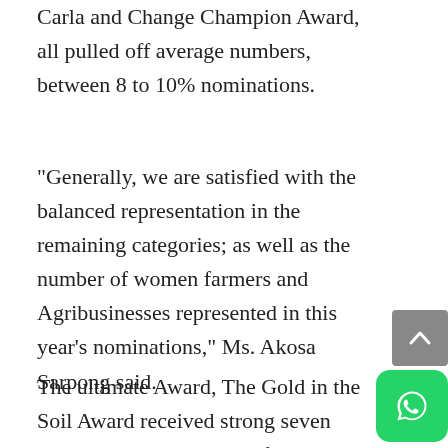Carla and Change Champion Award, all pulled off average numbers, between 8 to 10% nominations.
“Generally, we are satisfied with the balanced representation in the remaining categories; as well as the number of women farmers and Agribusinesses represented in this year’s nominations," Ms. Akosa Sarpong said.
The ultimate Award, The Gold in the Soil Award received strong seven nominations, including 2 from women farmers with disabilities. Over the last 3 years, the Award has been given to an outstanding woman